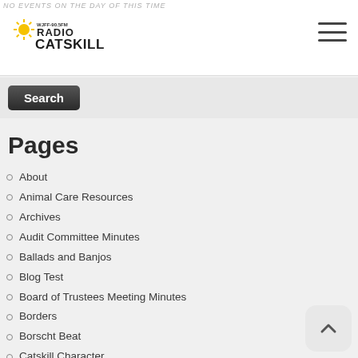NO EVENTS ON THE DAY OF THIS TIME
[Figure (logo): Radio Catskill logo with sun rays, WJFF-90.5FM text and Radio Catskill text]
Search (button)
Pages
About
Animal Care Resources
Archives
Audit Committee Minutes
Ballads and Banjos
Blog Test
Board of Trustees Meeting Minutes
Borders
Borscht Beat
Catskill Character
Community Advisory Board
Community Announcements
Community Events
Community Interviews
Contact
Cooking in the Catskills
Coronavirus Resources
Coronavirus Resources Updates